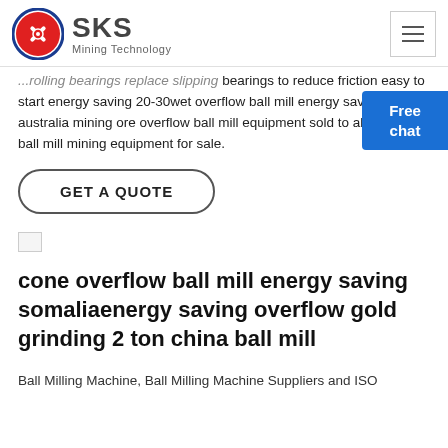SKS Mining Technology
...rolling bearings replace slipping bearings to reduce friction easy to start energy saving 20-30wet overflow ball mill energy saving australia mining ore overflow ball mill equipment sold to all over wet ball mill mining equipment for sale.
GET A QUOTE
[Figure (photo): Broken image placeholder]
cone overflow ball mill energy saving somaliaenergy saving overflow gold grinding 2 ton china ball mill
Ball Milling Machine, Ball Milling Machine Suppliers and ISO